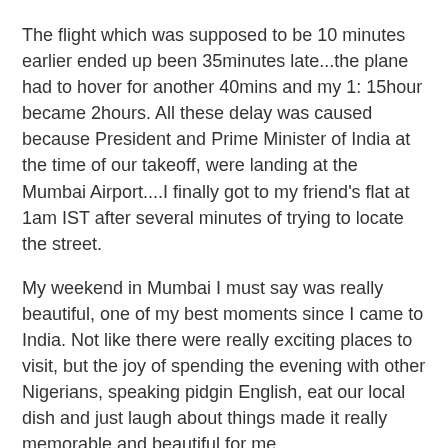The flight which was supposed to be 10 minutes earlier ended up been 35minutes late...the plane had to hover for another 40mins and my 1: 15hour became 2hours. All these delay was caused because President and Prime Minister of India at the time of our takeoff, were landing at the Mumbai Airport....I finally got to my friend's flat at 1am IST after several minutes of trying to locate the street.
My weekend in Mumbai I must say was really beautiful, one of my best moments since I came to India. Not like there were really exciting places to visit, but the joy of spending the evening with other Nigerians, speaking pidgin English, eat our local dish and just laugh about things made it really memorable and beautiful for me.
I got on the train for the first time in my life in Mumbai, when the guys were buying the train tickets and talking about 2nd class coach, I had the inter-state trains in mind, only for me to get on the train and have to stand and be squeezed in between men....the train experience was not that bad except moments when I am squeezed between guys.